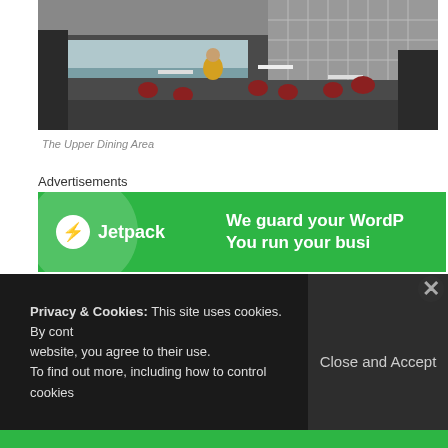[Figure (photo): The upper dining area of a cafe/restaurant with red chairs, small tables, and people seated. Dark flooring, modern interior.]
The Upper Dining Area
Advertisements
[Figure (screenshot): Jetpack advertisement banner with green background. Shows Jetpack logo (lightning bolt icon) and text: 'We guard your WordPress. You run your business.']
Privacy & Cookies: This site uses cookies. By continuing to use this website, you agree to their use.
To find out more, including how to control cookies
Close and Accept